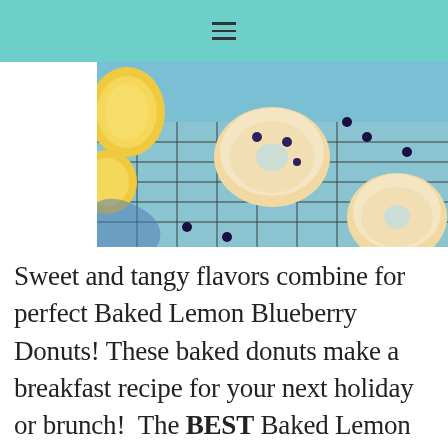≡
[Figure (photo): Overhead view of baked lemon blueberry donuts on a cooling rack with lemons and blueberries, on a blue background]
Sweet and tangy flavors combine for perfect Baked Lemon Blueberry Donuts! These baked donuts make a breakfast recipe for your next holiday or brunch!  The BEST Baked Lemon Blueberry Donuts! Lemon and blueberries have proven once again why they are the best pairing in the baking world with these Baked Lemon Blueberry Donuts! The